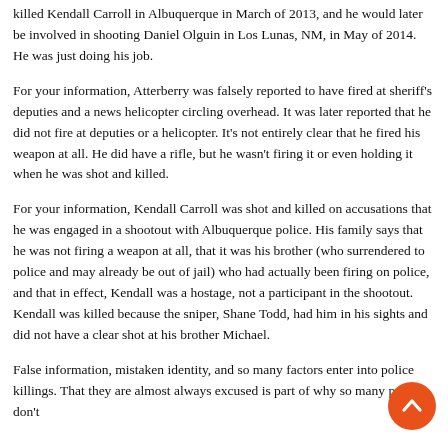killed Kendall Carroll in Albuquerque in March of 2013, and he would later be involved in shooting Daniel Olguin in Los Lunas, NM, in May of 2014. He was just doing his job.
For your information, Atterberry was falsely reported to have fired at sheriff's deputies and a news helicopter circling overhead. It was later reported that he did not fire at deputies or a helicopter. It's not entirely clear that he fired his weapon at all. He did have a rifle, but he wasn't firing it or even holding it when he was shot and killed.
For your information, Kendall Carroll was shot and killed on accusations that he was engaged in a shootout with Albuquerque police. His family says that he was not firing a weapon at all, that it was his brother (who surrendered to police and may already be out of jail) who had actually been firing on police, and that in effect, Kendall was a hostage, not a participant in the shootout. Kendall was killed because the sniper, Shane Todd, had him in his sights and did not have a clear shot at his brother Michael.
False information, mistaken identity, and so many factors enter into police killings. That they are almost always excused is part of why so many people don't